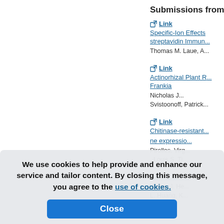Submissions from 2015
Link | Specific-Ion Effects streptavidin Immun... | Thomas M. Laue, A...
Link | Actinorhizal Plant R... Frankia | Nicholas J... Svistoonoff, Patrick...
Link | Chitinase-resistant ... ne expressio... Pirolles, Virg... , Louis S. Ti...
ctory Cilia F... | Wang, J. He... L. Huang, K...
We use cookies to help provide and enhance our service and tailor content. By closing this message, you agree to the use of cookies.